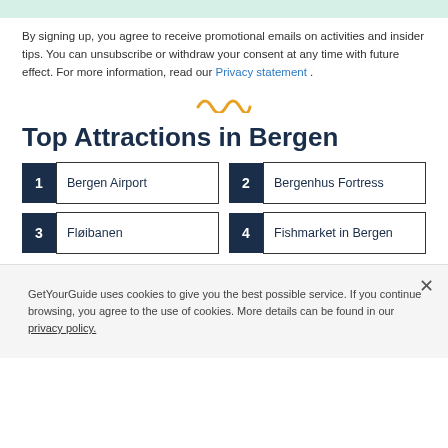By signing up, you agree to receive promotional emails on activities and insider tips. You can unsubscribe or withdraw your consent at any time with future effect. For more information, read our Privacy statement .
[Figure (illustration): Decorative wavy/zigzag icon in golden/yellow color]
Top Attractions in Bergen
1 Bergen Airport
2 Bergenhus Fortress
3 Fløibanen
4 Fishmarket in Bergen
GetYourGuide uses cookies to give you the best possible service. If you continue browsing, you agree to the use of cookies. More details can be found in our privacy policy.